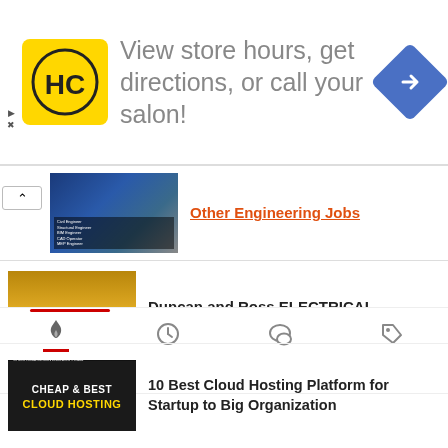[Figure (other): Advertisement banner: HC (Hair Club) logo on yellow background, text 'View store hours, get directions, or call your salon!', blue navigation diamond icon on right]
Other Engineering Jobs
[Figure (photo): Engineering workers in hard hats thumbnail image]
Duncan and Ross ELECTRICAL MECHANICAL CIVIL / STRUCTURAL Jobs
[Figure (photo): Duncan and Ross job listing image with yellow hard hats]
[Figure (other): Tab bar with icons: fire/popular, clock/recent, chat/comments, tag/label]
10 Best Cloud Hosting Platform for Startup to Big Organization
[Figure (other): Cheap & Best Cloud Hosting dark thumbnail image]